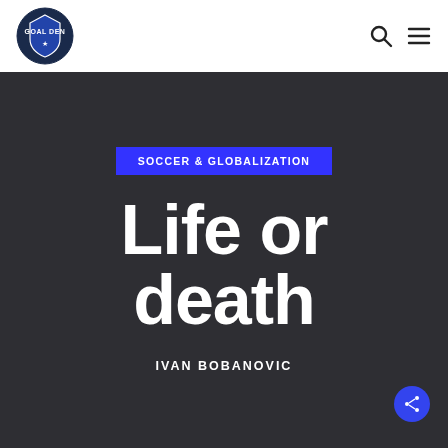GOAL DEN
SOCCER & GLOBALIZATION
Life or death
IVAN BOBANOVIC